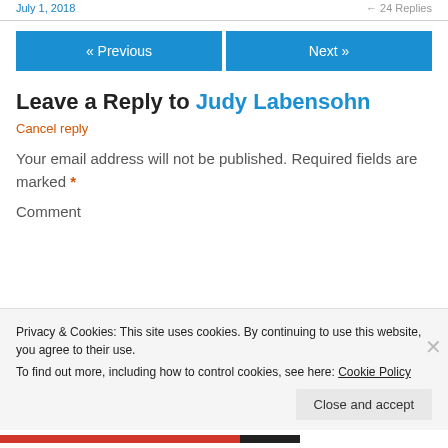July 1, 2018   ← 24 Replies
« Previous   Next »
Leave a Reply to Judy Labensohn
Cancel reply
Your email address will not be published. Required fields are marked *
Privacy & Cookies: This site uses cookies. By continuing to use this website, you agree to their use.
To find out more, including how to control cookies, see here: Cookie Policy
Close and accept